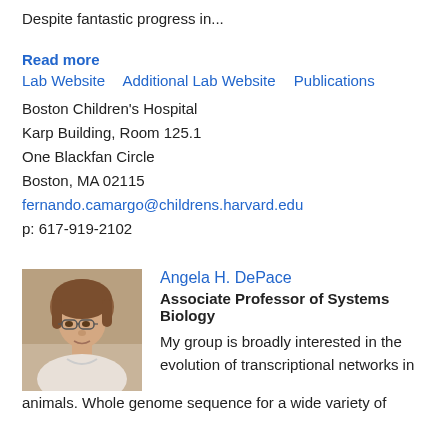Despite fantastic progress in...
Read more
Lab Website   Additional Lab Website   Publications
Boston Children's Hospital
Karp Building, Room 125.1
One Blackfan Circle
Boston, MA 02115
fernando.camargo@childrens.harvard.edu
p: 617-919-2102
[Figure (photo): Photo of Angela H. DePace, a woman with short reddish-brown hair and glasses, wearing a light-colored top]
Angela H. DePace
Associate Professor of Systems Biology
My group is broadly interested in the evolution of transcriptional networks in animals. Whole genome sequence for a wide variety of